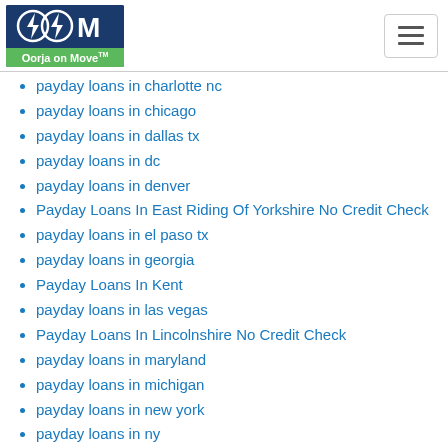[Figure (logo): Oorja on Move logo with lightning bolt icons on dark blue background and green banner below]
payday loans in charlotte nc
payday loans in chicago
payday loans in dallas tx
payday loans in dc
payday loans in denver
Payday Loans In East Riding Of Yorkshire No Credit Check
payday loans in el paso tx
payday loans in georgia
Payday Loans In Kent
payday loans in las vegas
Payday Loans In Lincolnshire No Credit Check
payday loans in maryland
payday loans in michigan
payday loans in new york
payday loans in ny
payday loans in pa